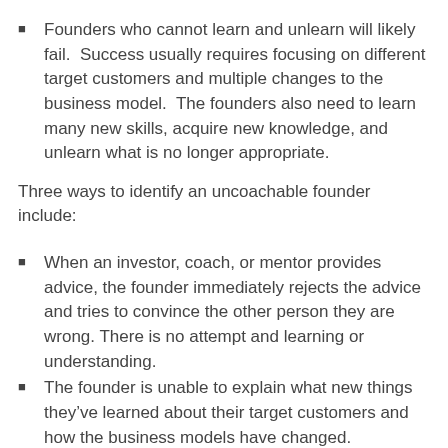Founders who cannot learn and unlearn will likely fail. Success usually requires focusing on different target customers and multiple changes to the business model. The founders also need to learn many new skills, acquire new knowledge, and unlearn what is no longer appropriate.
Three ways to identify an uncoachable founder include:
When an investor, coach, or mentor provides advice, the founder immediately rejects the advice and tries to convince the other person they are wrong. There is no attempt and learning or understanding.
The founder is unable to explain what new things they've learned about their target customers and how the business models have changed.
The founder is unable to explain what new skills and knowledge they've acquired in order to search out a business model.